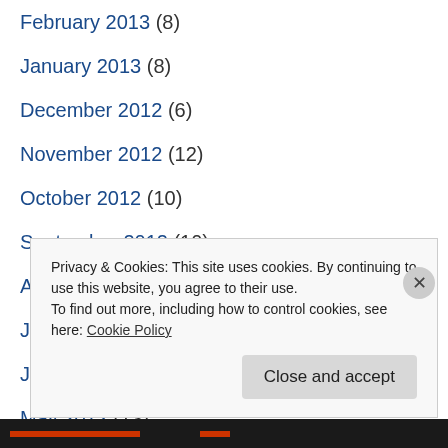February 2013 (8)
January 2013 (8)
December 2012 (6)
November 2012 (12)
October 2012 (10)
September 2012 (10)
August 2012 (7)
July 2012 (13)
June 2012 (6)
May 2012 (13)
April 2012 (13)
Privacy & Cookies: This site uses cookies. By continuing to use this website, you agree to their use. To find out more, including how to control cookies, see here: Cookie Policy